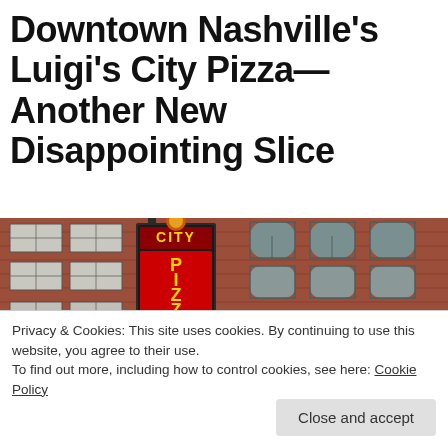Downtown Nashville's Luigi's City Pizza—Another New Disappointing Slice
[Figure (photo): Photograph of a brick building exterior showing the Luigi's City Pizza neon sign with stacked letters spelling CITY PIZZA in red and yellow neon, with a pizza character on top, mounted on a black pole against a red brick building facade with arched windows and a dark awning at street level.]
Privacy & Cookies: This site uses cookies. By continuing to use this website, you agree to their use.
To find out more, including how to control cookies, see here: Cookie Policy